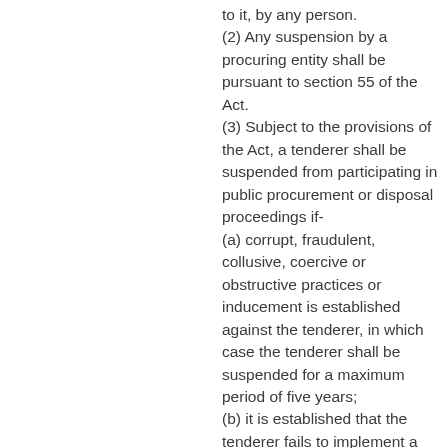to it, by any person.
(2) Any suspension by a procuring entity shall be pursuant to section 55 of the Act.
(3) Subject to the provisions of the Act, a tenderer shall be suspended from participating in public procurement or disposal proceedings if-
(a) corrupt, fraudulent, collusive, coercive or obstructive practices or inducement is established against the tenderer, in which case the tenderer shall be suspended for a maximum period of five years;
(b) it is established that the tenderer fails to implement a procurement or disposal contract, in which case the tenderer shall be barred for a period of not less than one year and not exceeding five